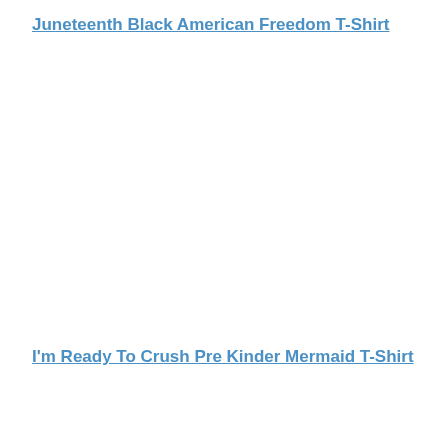Juneteenth Black American Freedom T-Shirt
I'm Ready To Crush Pre Kinder Mermaid T-Shirt